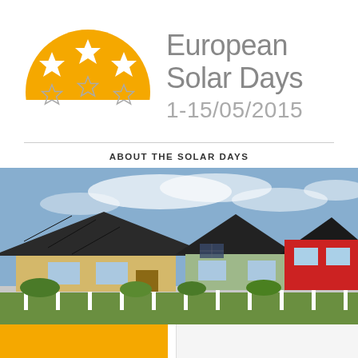[Figure (logo): European Solar Days logo: orange/golden half-sun circle with three white stars on left, text 'European Solar Days' in grey on right, date '1-15/05/2015' below]
ABOUT THE SOLAR DAYS
[Figure (photo): Photo of three suburban houses with solar panels on rooftops: yellow house on left, green house in center, red house on right, blue sky with clouds in background, white fence in foreground]